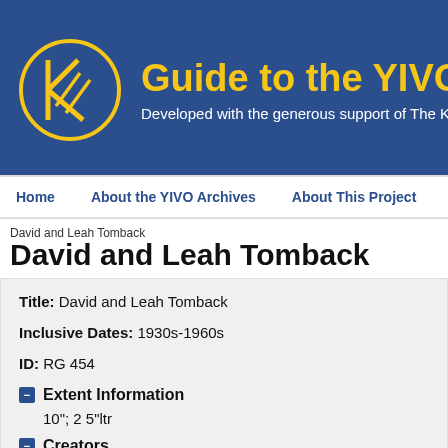[Figure (logo): YIVO Archives website header with logo circle containing stylized K/W letters in gold on blue background, gold title text 'Guide to the YIVO A' and white subtitle text 'Developed with the generous support of The Kronhill']
Home   About the YIVO Archives   About This Project
David and Leah Tomback
David and Leah Tomback
Title: David and Leah Tomback
Inclusive Dates: 1930s-1960s
ID: RG 454
− Extent Information
10"; 2 5"ltr
− Creators
Tomback, David and Leah